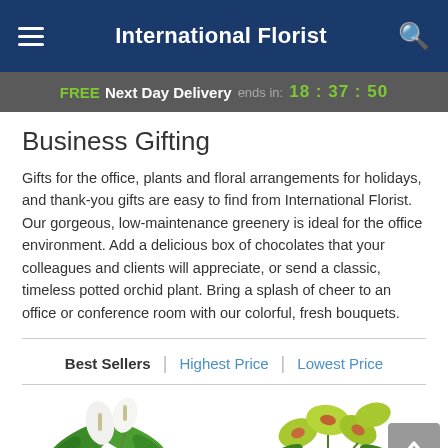International Florist
FREE Next Day Delivery ends in: 18 : 37 : 50
Business Gifting
Gifts for the office, plants and floral arrangements for holidays, and thank-you gifts are easy to find from International Florist. Our gorgeous, low-maintenance greenery is ideal for the office environment. Add a delicious box of chocolates that your colleagues and clients will appreciate, or send a classic, timeless potted orchid plant. Bring a splash of cheer to an office or conference room with our colorful, fresh bouquets.
Best Sellers | Highest Price | Lowest Price
[Figure (photo): Two flower/plant product images at bottom of page: left shows a white peace lily plant, right shows a yellow/green orchid arrangement in a dark pot.]